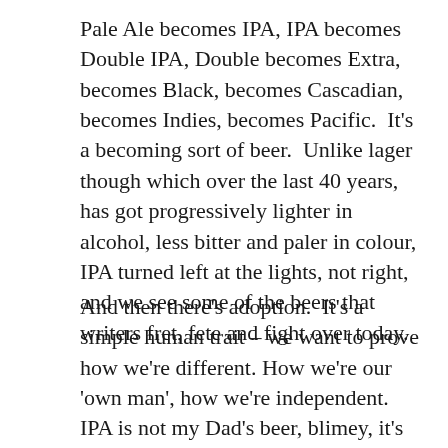Pale Ale becomes IPA, IPA becomes Double IPA, Double becomes Extra, becomes Black, becomes Cascadian, becomes Indies, becomes Pacific.  It's a becoming sort of beer.  Unlike lager though which over the last 40 years, has got progressively lighter in alcohol, less bitter and paler in colour, IPA turned left at the lights, not right, and we see some of the beers that writers fret, fete and fight over today.
And then there's adoption.  It's a simple human trait – we want to prove how we're different. How we're our 'own man', how we're independent.  IPA is not my Dad's beer, blimey, it's not even my older brother's beer…it's mine…. but most of all, IPA isn't everything else. It isn't mass brewed, it's